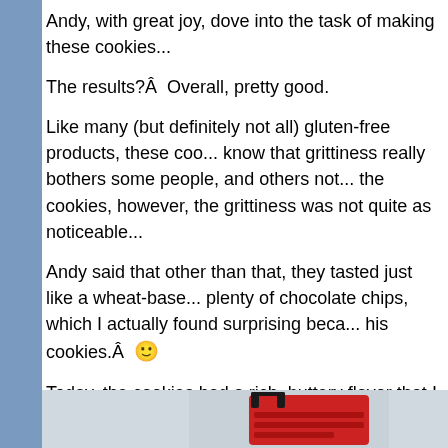Andy, with great joy, dove into the task of making these cookies...
The results?Â  Overall, pretty good.
Like many (but definitely not all) gluten-free products, these coo... know that grittiness really bothers some people, and others not... the cookies, however, the grittiness was not quite as noticeable...
Andy said that other than that, they tasted just like a wheat-base... plenty of chocolate chips, which I actually found surprising beca... his cookies.Â  🙂
Today, the cookies had a rich, buttery flavor that I did not taste w... This mix makes a good cookie, and if Betty Crocker can get a fi... excellent.Â  (And I'm sure a company like Betty Crocker will kee... perfect.)
Would you like to try out the new Betty Crocker gluten-free cook... couple of coupons for free mixes, a shopping bag, shopping list...
[Figure (photo): Bottom portion of page showing a red shopping bag or product packaging]